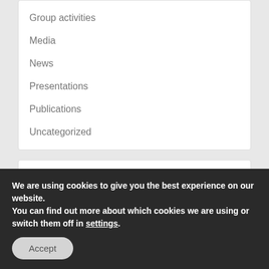Group activities
Media
News
Presentations
Publications
Uncategorized
Meta
Log in
Entries feed
Comments feed
We are using cookies to give you the best experience on our website.
You can find out more about which cookies we are using or switch them off in settings.
Accept